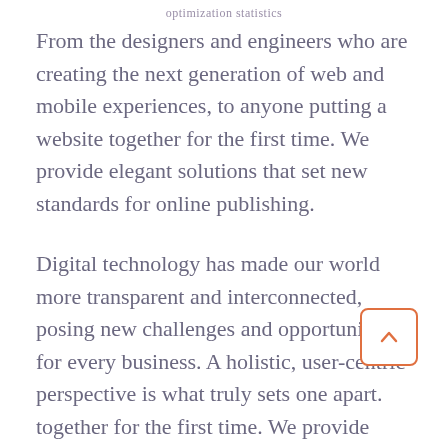optimization statistics
From the designers and engineers who are creating the next generation of web and mobile experiences, to anyone putting a website together for the first time. We provide elegant solutions that set new standards for online publishing.
Digital technology has made our world more transparent and interconnected, posing new challenges and opportunities for every business. A holistic, user-centric perspective is what truly sets one apart. together for the first time. We provide elegant solutions.
From the designers and engineers who are